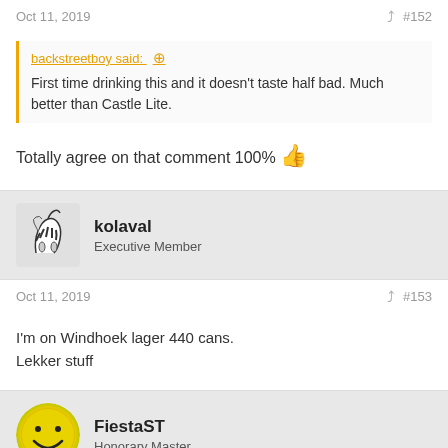Oct 11, 2019    #152
backstreetboy said: ↑
First time drinking this and it doesn't taste half bad. Much better than Castle Lite.
Totally agree on that comment 100% 👍
kolaval
Executive Member
Oct 11, 2019    #153
I'm on Windhoek lager 440 cans.
Lekker stuff
FiestaST
Honorary Master